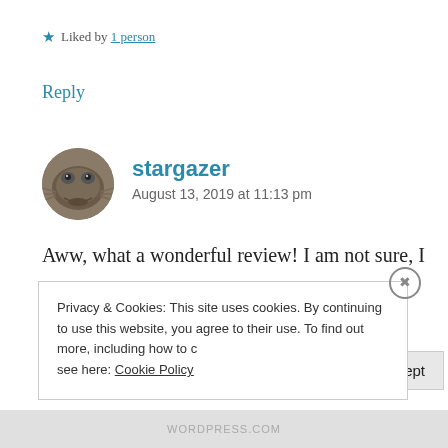★ Liked by 1 person
Reply
[Figure (photo): Avatar of user stargazer — circular profile picture of a fish face close-up]
stargazer
August 13, 2019 at 11:13 pm
Aww, what a wonderful review! I am not sure, I would enjoy the book, but I certainly enjoyed
Privacy & Cookies: This site uses cookies. By continuing to use this website, you agree to their use. To find out more, including how to control cookies, see here: Cookie Policy
Close and accept